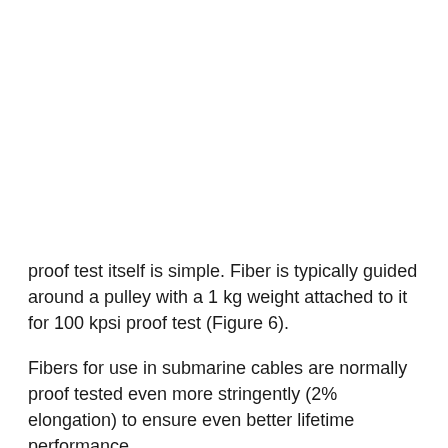proof test itself is simple. Fiber is typically guided around a pulley with a 1 kg weight attached to it for 100 kpsi proof test (Figure 6).
Fibers for use in submarine cables are normally proof tested even more stringently (2% elongation) to ensure even better lifetime performance.